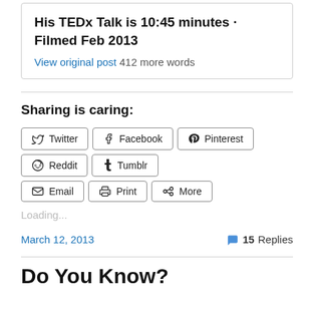His TEDx Talk is 10:45 minutes · Filmed Feb 2013
View original post 412 more words
Sharing is caring:
Twitter
Facebook
Pinterest
Reddit
Tumblr
Email
Print
More
Loading...
March 12, 2013
15 Replies
Do You Know?